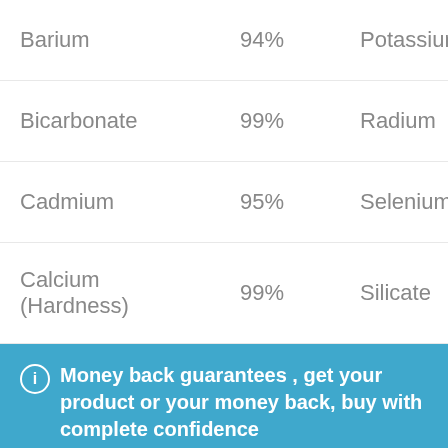| Name | Percentage | Name2 |
| --- | --- | --- |
| Barium | 94% | Potassium |
| Bicarbonate | 99% | Radium |
| Cadmium | 95% | Selenium |
| Calcium (Hardness) | 99% | Silicate |
Money back guarantees , get your product or your money back, buy with complete confidence
Dismiss